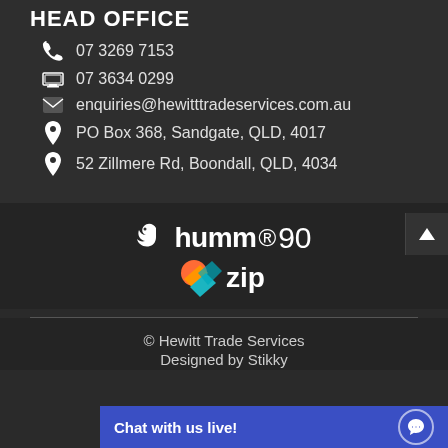HEAD OFFICE
07 3269 7153
07 3634 0299
enquiries@hewitttradeservices.com.au
PO Box 368, Sandgate, QLD, 4017
52 Zillmere Rd, Boondall, QLD, 4034
[Figure (logo): humm90 logo - white bird icon followed by 'humm' text and '90' superscript]
[Figure (logo): zip logo - multicolor arrow/chevron icon followed by 'zip' text]
© Hewitt Trade Services
Designed by Stikky
Chat with us live!